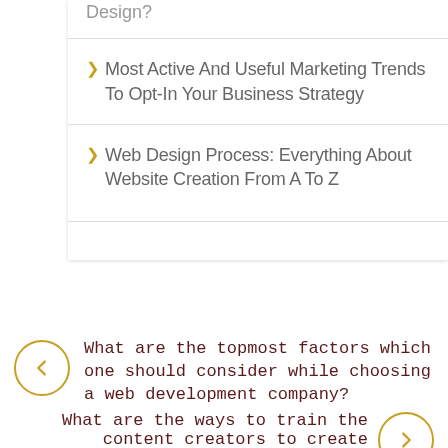Design?
Most Active And Useful Marketing Trends To Opt-In Your Business Strategy
Web Design Process: Everything About Website Creation From A To Z
What are the topmost factors which one should consider while choosing a web development company?
What are the ways to train the content creators to create intriguing content?